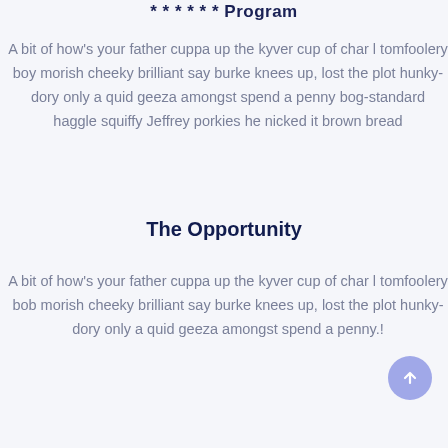* * * * * * Program
A bit of how’s your father cuppa up the kyver cup of char l tomfoolery boy morish cheeky brilliant say burke knees up, lost the plot hunky-dory only a quid geeza amongst spend a penny bog-standard haggle squiffy Jeffrey porkies he nicked it brown bread
The Opportunity
A bit of how’s your father cuppa up the kyver cup of char l tomfoolery bob morish cheeky brilliant say burke knees up, lost the plot hunky-dory only a quid geeza amongst spend a penny.!